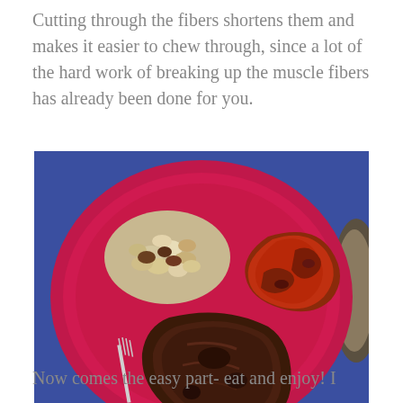Cutting through the fibers shortens them and makes it easier to chew through, since a lot of the hard work of breaking up the muscle fibers has already been done for you.
[Figure (photo): A red plate with food: a pile of mixed beans (top left), barbecue sauced meat pieces (top right), and a large piece of grilled/smoked meat (bottom center). A fork is visible on the left. The plate sits on a blue surface with another dish partially visible on the right.]
Now comes the easy part- eat and enjoy! I